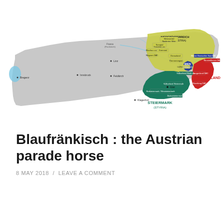[Figure (map): Map of Austria showing wine regions. Eastern regions colored: yellow-green for Niederösterreich (Lower Austria), dark blue for Wien (Vienna), dark red for Burgenland, teal/dark green for Steiermark (Styria). Light blue for a lake in the west. Various sub-region labels in small text. Grey for remaining Austrian regions.]
Blaufränkisch : the Austrian parade horse
8 MAY 2018 / LEAVE A COMMENT